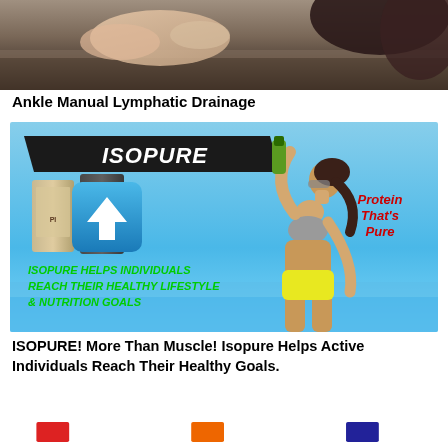[Figure (photo): Top portion of a photo showing hands performing ankle manual lymphatic drainage massage]
Ankle Manual Lymphatic Drainage
[Figure (infographic): ISOPURE advertisement: black banner with ISOPURE logo, two protein supplement cans, blue arrow icon, woman drinking from green bottle in athletic wear, red italic text 'Protein That's Pure', green bold text 'ISOPURE HELPS INDIVIDUALS REACH THEIR HEALTHY LIFESTYLE & NUTRITION GOALS' on sky blue background]
ISOPURE! More Than Muscle! Isopure Helps Active Individuals Reach Their Healthy Goals.
[Figure (logo): Three partial logos visible at bottom of page: red, orange, and blue/navy colored logos]